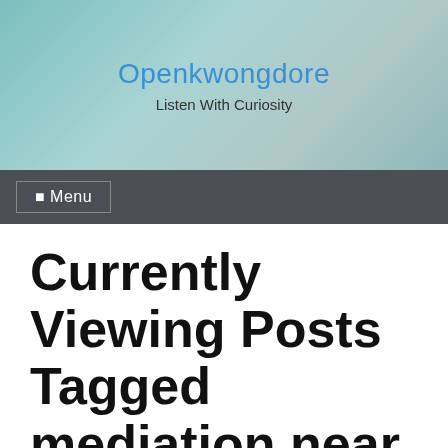Openkwongdore
Listen With Curiosity
☰ Menu
Currently Viewing Posts Tagged mediation near me
Reasons To Consider a Divorce Broker in California